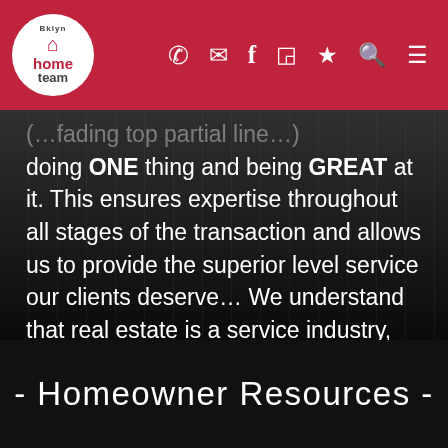Bklyn Home Team navigation bar with logo and icons (phone, email, facebook, instagram, star, search, menu)
doing ONE thing and being GREAT at it. This ensures expertise throughout all stages of the transaction and allows us to provide the superior level service our clients deserve… We understand that real estate is a service industry, therefore we treat it as such. Rest assured that when you work with the Brooklyn Home Team, you'll be in good hands with people who care!
- Homeowner Resources -